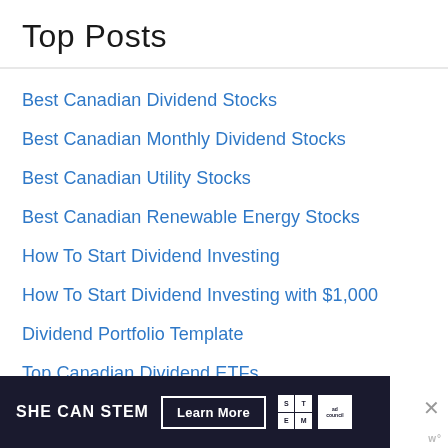Top Posts
Best Canadian Dividend Stocks
Best Canadian Monthly Dividend Stocks
Best Canadian Utility Stocks
Best Canadian Renewable Energy Stocks
How To Start Dividend Investing
How To Start Dividend Investing with $1,000
Dividend Portfolio Template
Top Canadian Dividend ETFs
Canadian Dividend Calendar
Be…